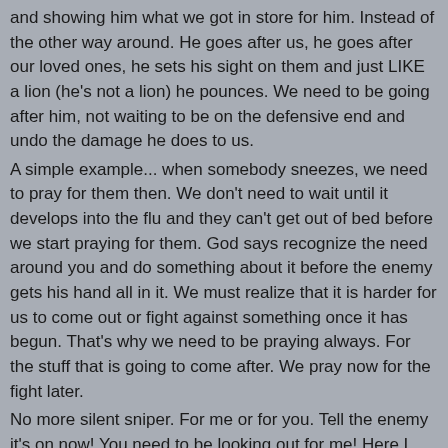and showing him what we got in store for him. Instead of the other way around. He goes after us, he goes after our loved ones, he sets his sight on them and just LIKE a lion (he's not a lion) he pounces. We need to be going after him, not waiting to be on the defensive end and undo the damage he does to us.
A simple example... when somebody sneezes, we need to pray for them then. We don't need to wait until it develops into the flu and they can't get out of bed before we start praying for them. God says recognize the need around you and do something about it before the enemy gets his hand all in it. We must realize that it is harder for us to come out or fight against something once it has begun. That's why we need to be praying always. For the stuff that is going to come after. We pray now for the fight later.
No more silent sniper. For me or for you. Tell the enemy it's on now! You need to be looking out for me! Here I come.
God is real.
Be blessed.
A servant of the Lord,
Sis. E
http://sis.e.home.comcast.net